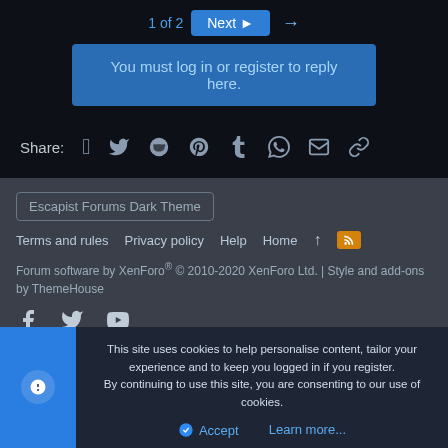1 of 2  Next  →
You must log in or register to reply here.
Share: (social icons: Facebook, Twitter, Reddit, Pinterest, Tumblr, WhatsApp, Email, Link)
Escapist Forums Dark Theme
Terms and rules  Privacy policy  Help  Home  ↑  RSS
Forum software by XenForo® © 2010-2020 XenForo Ltd. | Style and add-ons by ThemeHouse
Social icons: Facebook, Twitter, YouTube
This site uses cookies to help personalise content, tailor your experience and to keep you logged in if you register.
By continuing to use this site, you are consenting to our use of cookies.
✓ Accept  Learn more...